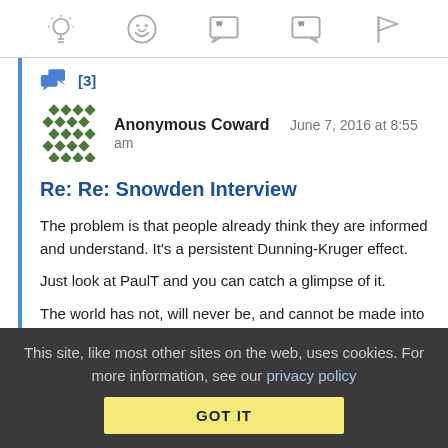[Figure (screenshot): Toolbar with five icons: lightbulb, laughing face, left double-quote speech bubble, right double-quote speech bubble, flag]
[Figure (other): Thread/reply icon with blue chat bubbles and [3] count indicator]
[Figure (other): Green pixel avatar for Anonymous Coward]
Anonymous Coward   June 7, 2016 at 8:55 am
Re: Re: Snowden Interview
The problem is that people already think they are informed and understand. It's a persistent Dunning-Kruger effect.
Just look at PaulT and you can catch a glimpse of it.
The world has not, will never be, and cannot be made into a
This site, like most other sites on the web, uses cookies. For more information, see our privacy policy  GOT IT